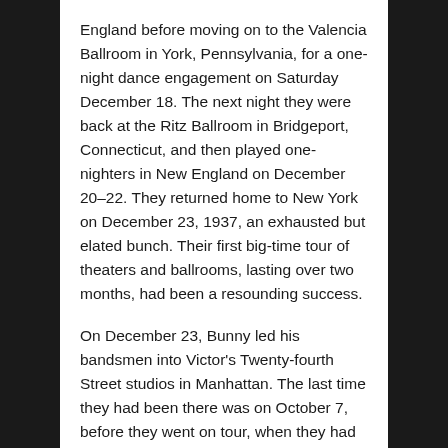England before moving on to the Valencia Ballroom in York, Pennsylvania, for a one-night dance engagement on Saturday December 18. The next night they were back at the Ritz Ballroom in Bridgeport, Connecticut, and then played one-nighters in New England on December 20–22. They returned home to New York on December 23, 1937, an exhausted but elated bunch. Their first big-time tour of theaters and ballrooms, lasting over two months, had been a resounding success.
On December 23, Bunny led his bandsmen into Victor's Twenty-fourth Street studios in Manhattan. The last time they had been there was on October 7, before they went on tour, when they had recorded four forgettable pop tunes with vocals. This session began at 1:00 p.m., ran until 5:30, and produced five instrumentals, something that was